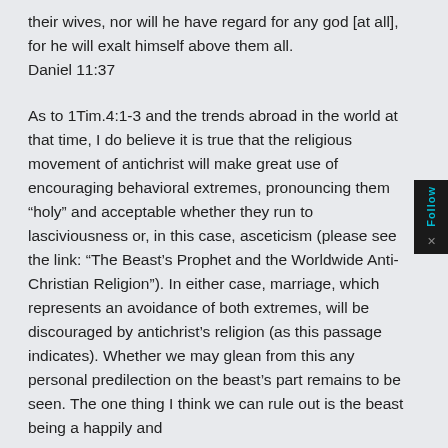their wives, nor will he have regard for any god [at all], for he will exalt himself above them all. Daniel 11:37
As to 1Tim.4:1-3 and the trends abroad in the world at that time, I do believe it is true that the religious movement of antichrist will make great use of encouraging behavioral extremes, pronouncing them “holy” and acceptable whether they run to lasciviousness or, in this case, asceticism (please see the link: “The Beast’s Prophet and the Worldwide Anti-Christian Religion”). In either case, marriage, which represents an avoidance of both extremes, will be discouraged by antichrist’s religion (as this passage indicates). Whether we may glean from this any personal predilection on the beast’s part remains to be seen. The one thing I think we can rule out is the beast being a happily and